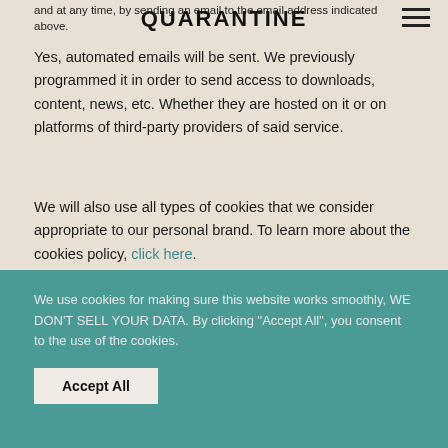and at any time, by sending an email to the email address indicated above.
QUARANTINE
Yes, automated emails will be sent. We previously programmed it in order to send access to downloads, content, news, etc. Whether they are hosted on it or on platforms of third-party providers of said service.
We will also use all types of cookies that we consider appropriate to our personal brand. To learn more about the cookies policy, click here.
We use cookies for making sure this website works smoothly, WE DON'T SELL YOUR DATA. By clicking "Accept All", you consent to the use of the cookies.
Accept All